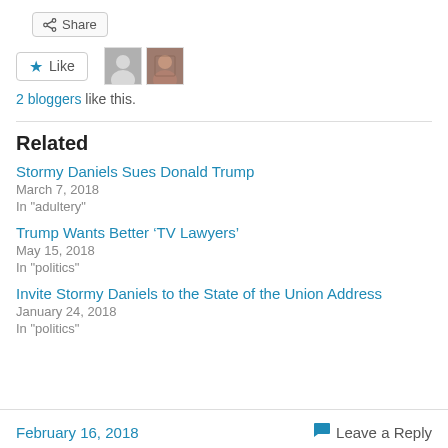[Figure (other): Share button with share icon]
[Figure (other): Like button with star icon, followed by two avatar thumbnails (one gray placeholder, one photo of a person)]
2 bloggers like this.
Related
Stormy Daniels Sues Donald Trump
March 7, 2018
In "adultery"
Trump Wants Better ‘TV Lawyers’
May 15, 2018
In "politics"
Invite Stormy Daniels to the State of the Union Address
January 24, 2018
In "politics"
February 16, 2018   Leave a Reply